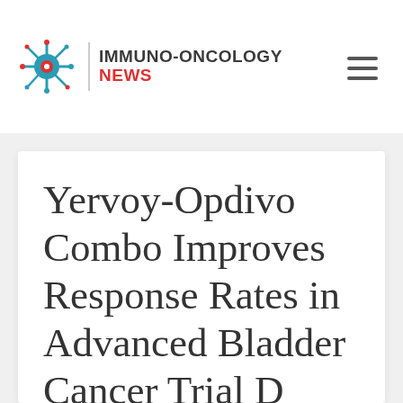[Figure (logo): Immuno-Oncology News logo with stylized virus/cell icon in teal and red, vertical divider, and text 'IMMUNO-ONCOLOGY NEWS']
Yervoy-Opdivo Combo Improves Response Rates in Advanced Bladder Cancer Trial D...